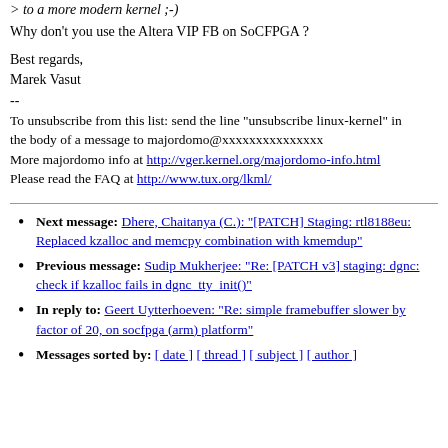> to a more modern kernel ;-)
Why don't you use the Altera VIP FB on SoCFPGA ?
Best regards,
Marek Vasut
--
To unsubscribe from this list: send the line "unsubscribe linux-kernel" in
the body of a message to majordomo@xxxxxxxxxxxxxxx
More majordomo info at http://vger.kernel.org/majordomo-info.html
Please read the FAQ at http://www.tux.org/lkml/
Next message: Dhere, Chaitanya (C.): "[PATCH] Staging: rtl8188eu: Replaced kzalloc and memcpy combination with kmemdup"
Previous message: Sudip Mukherjee: "Re: [PATCH v3] staging: dgnc: check if kzalloc fails in dgnc_tty_init()"
In reply to: Geert Uytterhoeven: "Re: simple framebuffer slower by factor of 20, on socfpga (arm) platform"
Messages sorted by: [ date ] [ thread ] [ subject ] [ author ]